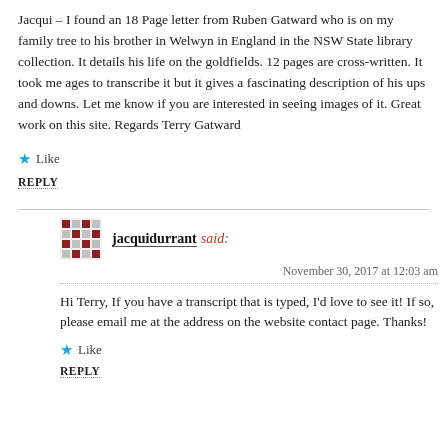Jacqui – I found an 18 Page letter from Ruben Gatward who is on my family tree to his brother in Welwyn in England in the NSW State library collection. It details his life on the goldfields. 12 pages are cross-written. It took me ages to transcribe it but it gives a fascinating description of his ups and downs. Let me know if you are interested in seeing images of it. Great work on this site. Regards Terry Gatward
Like
REPLY
jacquidurrant said:
November 30, 2017 at 12:03 am
Hi Terry, If you have a transcript that is typed, I'd love to see it! If so, please email me at the address on the website contact page. Thanks!
Like
REPLY